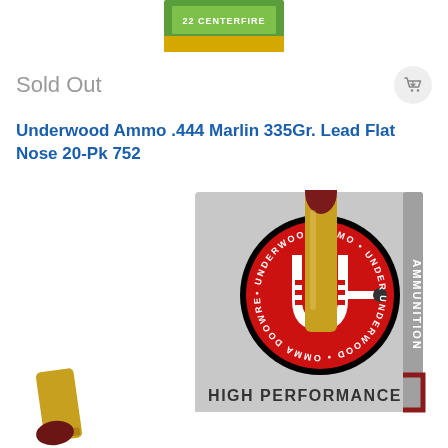[Figure (photo): Partial top view of a green and yellow ammunition box, cropped at the top of the page]
Sold Out
Underwood Ammo .444 Marlin 335Gr. Lead Flat Nose 20-Pk 752
[Figure (photo): Product photo of Underwood Ammo .444 Marlin ammunition box (grey box with red Underwood U logo and HIGH PERFORMANCE label) with two brass rifle cartridges with dark red flat-nose bullets in front]